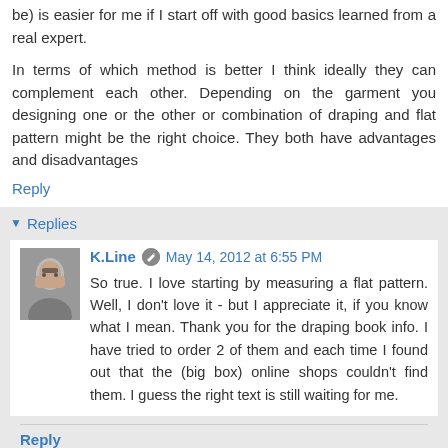be) is easier for me if I start off with good basics learned from a real expert.
In terms of which method is better I think ideally they can complement each other. Depending on the garment you designing one or the other or combination of draping and flat pattern might be the right choice. They both have advantages and disadvantages
Reply
Replies
K.Line  May 14, 2012 at 6:55 PM
So true. I love starting by measuring a flat pattern. Well, I don't love it - but I appreciate it, if you know what I mean. Thank you for the draping book info. I have tried to order 2 of them and each time I found out that the (big box) online shops couldn't find them. I guess the right text is still waiting for me.
Reply